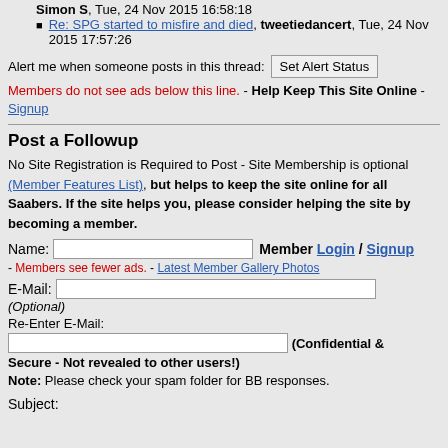Re: SPG started to misfire and died, tweetiedancert, Tue, 24 Nov 2015 17:57:26
Simon S, Tue, 24 Nov 2015 16:58:18
Alert me when someone posts in this thread: [Set Alert Status]
Members do not see ads below this line. - Help Keep This Site Online - Signup
Post a Followup
No Site Registration is Required to Post - Site Membership is optional (Member Features List), but helps to keep the site online for all Saabers. If the site helps you, please consider helping the site by becoming a member.
Name: [input] Member Login / Signup
- Members see fewer ads. - Latest Member Gallery Photos
E-Mail: [input] (Optional)
Re-Enter E-Mail: [input] (Confidential & Secure - Not revealed to other users!)
Note: Please check your spam folder for BB responses.
Subject: